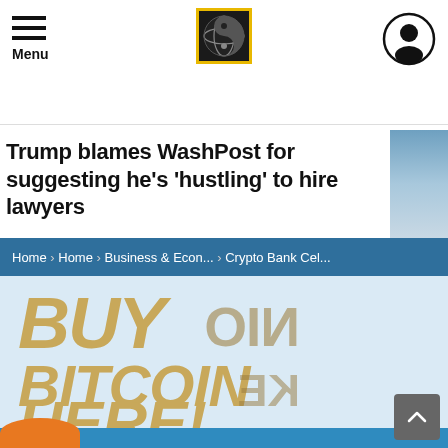Menu
Trump blames WashPost for suggesting he's 'hustling' to hire lawyers
Home › Home › Business & Econ... › Crypto Bank Cel...
[Figure (photo): Large sign reading BUY BITCOIN HERE! in gold/tan letters on a light blue background, with a partial reflection of the same sign visible on a glass surface to the right.]